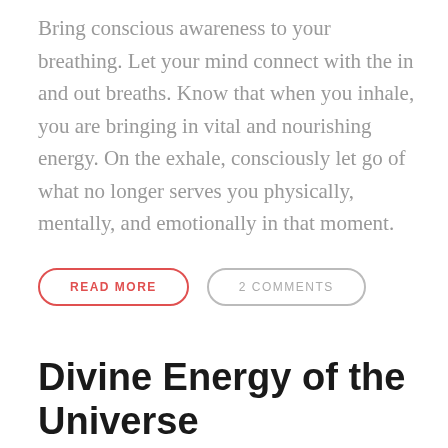Bring conscious awareness to your breathing. Let your mind connect with the in and out breaths. Know that when you inhale, you are bringing in vital and nourishing energy. On the exhale, consciously let go of what no longer serves you physically, mentally, and emotionally in that moment.
READ MORE
2 COMMENTS
Divine Energy of the Universe